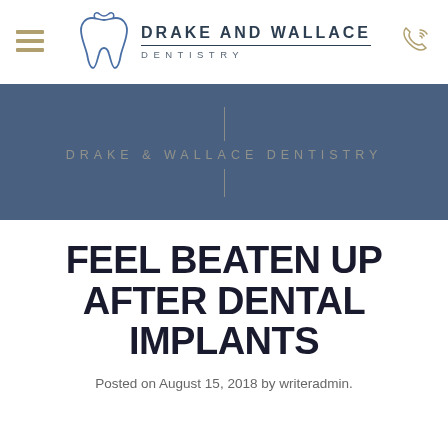[Figure (logo): Drake and Wallace Dentistry logo with tooth SVG, hamburger menu icon on left, phone icon on right]
[Figure (illustration): Drake & Wallace Dentistry banner with steel blue background, decorative vertical lines above and below the text]
FEEL BEATEN UP AFTER DENTAL IMPLANTS
Posted on August 15, 2018 by writeradmin.